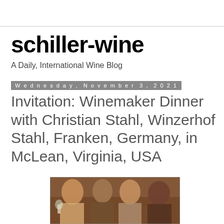schiller-wine
A Daily, International Wine Blog
Wednesday, November 3, 2021
Invitation: Winemaker Dinner with Christian Stahl, Winzerhof Stahl, Franken, Germany, in McLean, Virginia, USA
[Figure (photo): Group photo of four people smiling, one holding a wine glass, at a dinner event]